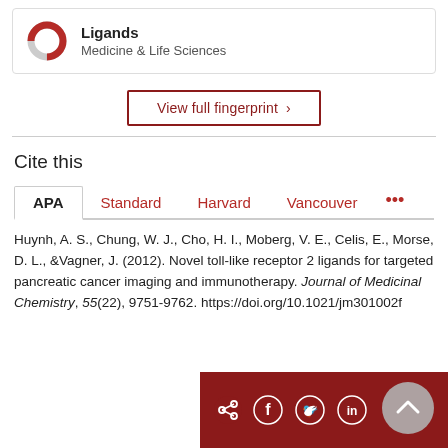[Figure (other): Ligands donut/ring icon with red and grey segments, labeled 'Ligands' and 'Medicine & Life Sciences' inside a card]
View full fingerprint >
Cite this
APA | Standard | Harvard | Vancouver | ...
Huynh, A. S., Chung, W. J., Cho, H. I., Moberg, V. E., Celis, E., Morse, D. L., & Vagner, J. (2012). Novel toll-like receptor 2 ligands for targeted pancreatic cancer imaging and immunotherapy. Journal of Medicinal Chemistry, 55(22), 9751-9762. https://doi.org/10.1021/jm301002f